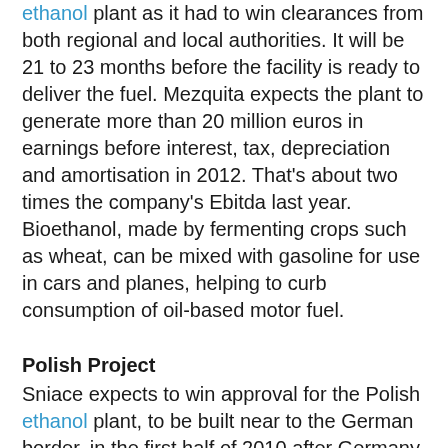ethanol plant as it had to win clearances from both regional and local authorities. It will be 21 to 23 months before the facility is ready to deliver the fuel. Mezquita expects the plant to generate more than 20 million euros in earnings before interest, tax, depreciation and amortisation in 2012. That's about two times the company's Ebitda last year. Bioethanol, made by fermenting crops such as wheat, can be mixed with gasoline for use in cars and planes, helping to curb consumption of oil-based motor fuel.
Polish Project
Sniace expects to win approval for the Polish ethanol plant, to be built near to the German border, in the first half of 2010 after Germany reviewed the project. Construction may begin before the end of next year, Mezquita said. "Two weeks ago there was a meeting with the German authorities and in principle there will be no problem for the regulatory process to proceed in Poland," Mezquita said. "In a few months or three we could get the licenses."
Sniace and two partners have submitted a bid to develop a 200-MW wind-energy project in Cantabria. A decision by the